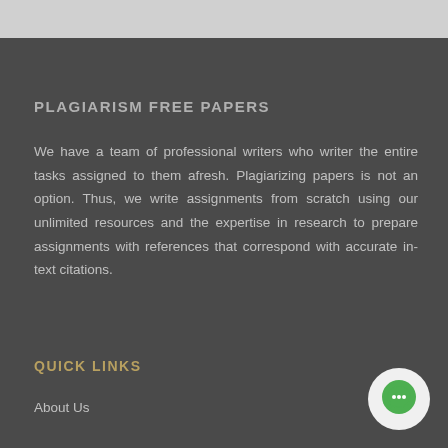PLAGIARISM FREE PAPERS
We have a team of professional writers who writer the entire tasks assigned to them afresh. Plagiarizing papers is not an option. Thus, we write assignments from scratch using our unlimited resources and the expertise in research to prepare assignments with references that correspond with accurate in-text citations.
QUICK LINKS
About Us